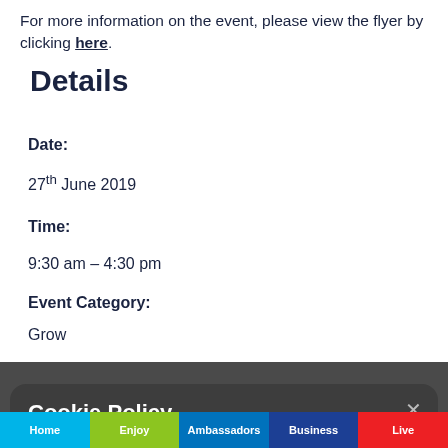For more information on the event, please view the flyer by clicking here.
Details
Date:
27th June 2019
Time:
9:30 am – 4:30 pm
Event Category:
Grow
Venue:
Cookie Policy
This site uses cookies – small text files that are placed on your machine to help the site provide a better user experience. We suggest consulting the Help section of your browser or taking a look at the About Cookies website which offers guidance for all modern browsers
Accept Cookies for this website
Decline Cookies
Home   Enjoy   Ambassadors   Business   Live